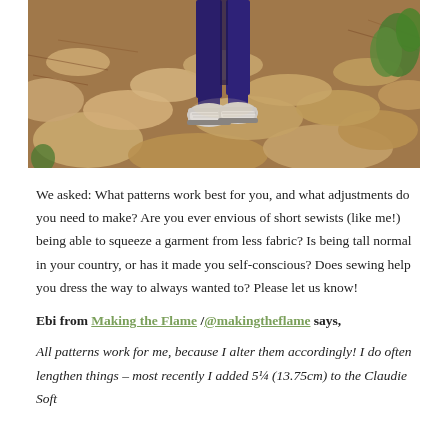[Figure (photo): Outdoor photo of a person's lower legs and feet wearing dark blue pants and grey/white patterned sneakers, standing on rocky terrain with dry leaves and some green plants in the background.]
We asked: What patterns work best for you, and what adjustments do you need to make? Are you ever envious of short sewists (like me!) being able to squeeze a garment from less fabric? Is being tall normal in your country, or has it made you self-conscious? Does sewing help you dress the way to always wanted to? Please let us know!
Ebi from Making the Flame /@makingtheflame says,
All patterns work for me, because I alter them accordingly! I do often lengthen things – most recently I added 5¼ (13.75cm) to the Claudie Soft...